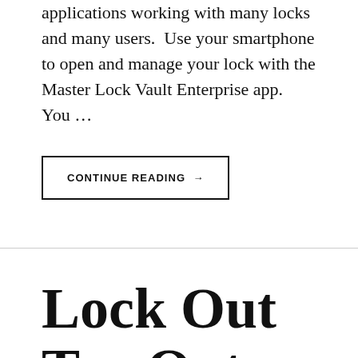applications working with many locks and many users.  Use your smartphone to open and manage your lock with the Master Lock Vault Enterprise app.  You …
CONTINUE READING →
Lock Out Tag Out– Your life depends on it